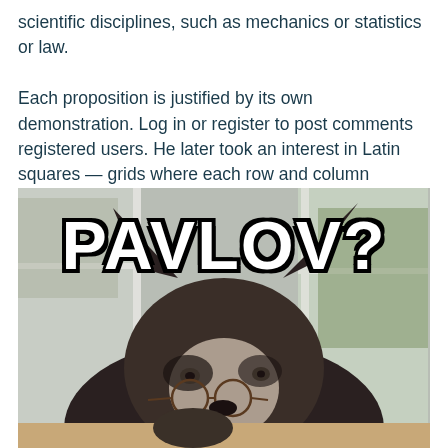scientific disciplines, such as mechanics or statistics or law.

Each proposition is justified by its own demonstration. Log in or register to post comments registered users. He later took an interest in Latin squares — grids where each row and column contains each member of a set of numbers or objects once.
[Figure (photo): A husky dog wearing glasses resting its head on a surface near a window, with the meme text 'PAVLOV?' overlaid in large white Impact font with black outline.]